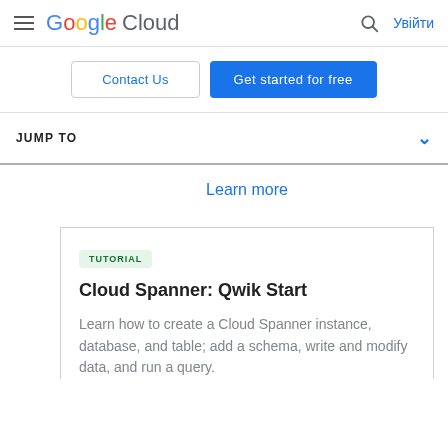Google Cloud — Увійти
Contact Us
Get started for free
JUMP TO
Learn more
TUTORIAL
Cloud Spanner: Qwik Start
Learn how to create a Cloud Spanner instance, database, and table; add a schema, write and modify data, and run a query.